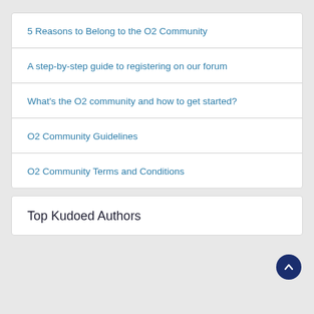5 Reasons to Belong to the O2 Community
A step-by-step guide to registering on our forum
What's the O2 community and how to get started?
O2 Community Guidelines
O2 Community Terms and Conditions
Top Kudoed Authors